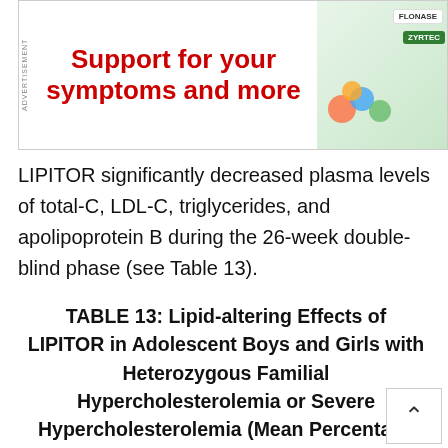[Figure (other): Advertisement banner: 'Support for your symptoms and more' with product images including Flonase and Zyrtec]
LIPITOR significantly decreased plasma levels of total-C, LDL-C, triglycerides, and apolipoprotein B during the 26-week double-blind phase (see Table 13).
TABLE 13: Lipid-altering Effects of LIPITOR in Adolescent Boys and Girls with Heterozygous Familial Hypercholesterolemia or Severe Hypercholesterolemia (Mean Percentage Change From Baseline at Endpoint in Intention-to-Treat Population)